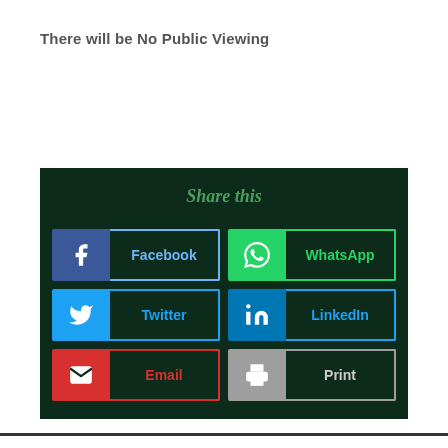There will be No Public Viewing
[Figure (screenshot): Share this widget with buttons for Facebook, WhatsApp, Twitter, LinkedIn, Email, and Print on a dark green background]